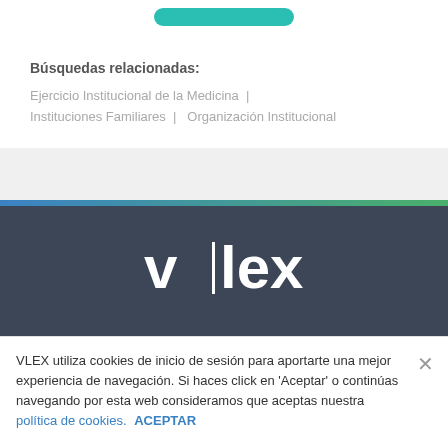[Figure (other): Teal/green rounded button at top center]
Búsquedas relacionadas:
Ejercicio Institucional de la Medicina  |  Instituciones Familiares  |  Organización Institucional
[Figure (logo): vlex logo in white text on dark blue-grey background]
VLEX utiliza cookies de inicio de sesión para aportarte una mejor experiencia de navegación. Si haces click en 'Aceptar' o continúas navegando por esta web consideramos que aceptas nuestra política de cookies.  ACEPTAR